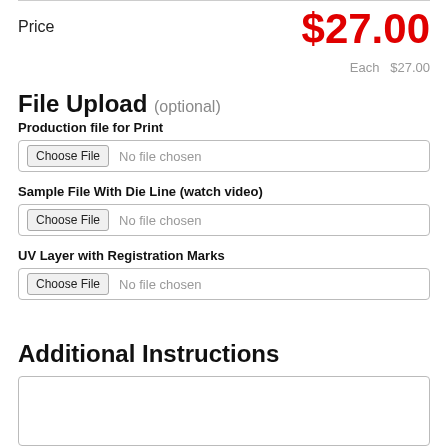Price   $27.00
Each $27.00
File Upload (optional)
Production file for Print
Choose File  No file chosen
Sample File With Die Line (watch video)
Choose File  No file chosen
UV Layer with Registration Marks
Choose File  No file chosen
Additional Instructions